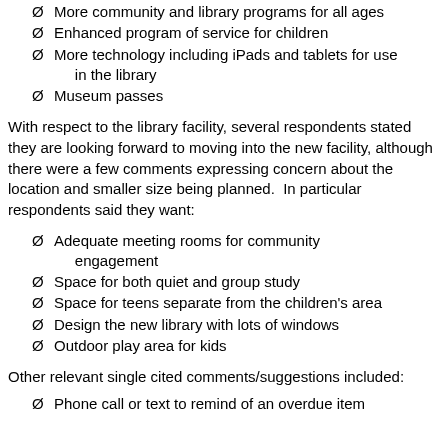Ø More community and library programs for all ages
Ø Enhanced program of service for children
Ø More technology including iPads and tablets for use in the library
Ø Museum passes
With respect to the library facility, several respondents stated they are looking forward to moving into the new facility, although there were a few comments expressing concern about the location and smaller size being planned.  In particular respondents said they want:
Ø Adequate meeting rooms for community engagement
Ø Space for both quiet and group study
Ø Space for teens separate from the children's area
Ø Design the new library with lots of windows
Ø Outdoor play area for kids
Other relevant single cited comments/suggestions included:
Ø Phone call or text to remind of an overdue item